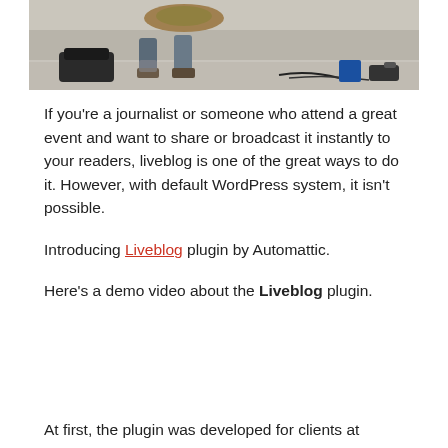[Figure (photo): Cropped photo showing feet/legs on the ground, outdoor setting with stone wall background, with some equipment/bags visible]
If you're a journalist or someone who attend a great event and want to share or broadcast it instantly to your readers, liveblog is one of the great ways to do it. However, with default WordPress system, it isn't possible.
Introducing Liveblog plugin by Automattic.
Here's a demo video about the Liveblog plugin.
At first, the plugin was developed for clients at